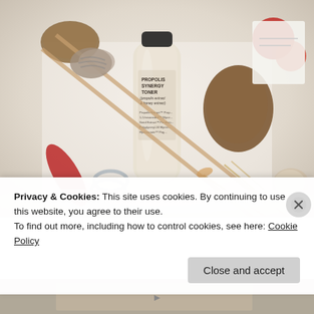[Figure (photo): Photo of a Propolis Synergy Toner bottle (propolis extract & honey extract) surrounded by pine cones, chopsticks, red berries, stones, dried flowers, and silver rings on a white surface.]
Privacy & Cookies: This site uses cookies. By continuing to use this website, you agree to their use.
To find out more, including how to control cookies, see here: Cookie Policy
Close and accept